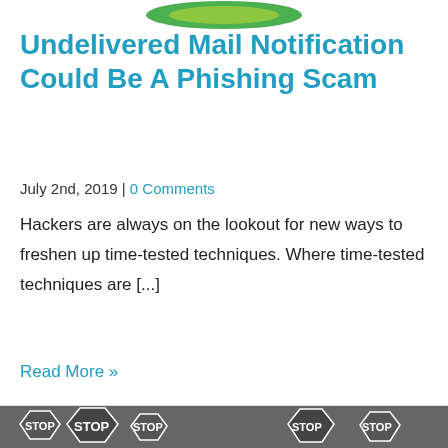[Figure (illustration): Partial green logo/image at top of article]
Undelivered Mail Notification Could Be A Phishing Scam
July 2nd, 2019 | 0 Comments
Hackers are always on the lookout for new ways to freshen up time-tested techniques. Where time-tested techniques are [...]
Read More »
Categories: Security, General Interest, Blog, Business Advice, Recent News, Phishing, Office 365
[Figure (photo): Black and white photo of stop signs at the bottom of the page]